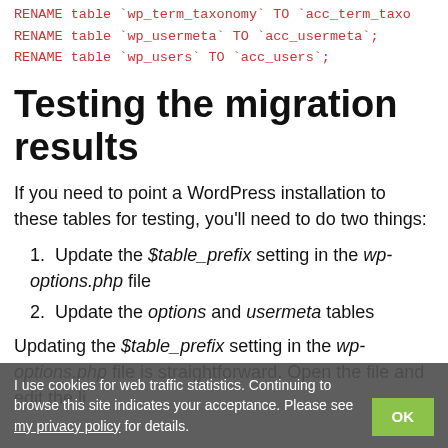RENAME table `wp_term_taxonomy` TO `acc_term_taxo
RENAME table `wp_usermeta` TO `acc_usermeta`;
RENAME table `wp_users` TO `acc_users`;
Testing the migration results
If you need to point a WordPress installation to these tables for testing, you'll need to do two things:
1. Update the $table_prefix setting in the wp-options.php file
2. Update the options and usermeta tables
Updating the $table_prefix setting in the wp-options.php file is straightforward. Open the file and edit the line
I use cookies for web traffic statistics. Continuing to browse this site indicates your acceptance. Please see my privacy policy for details.